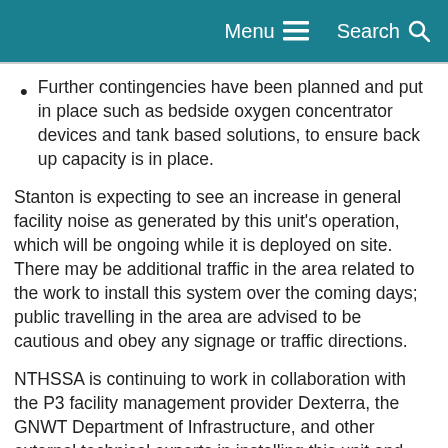Menu  Search
Further contingencies have been planned and put in place such as bedside oxygen concentrator devices and tank based solutions, to ensure back up capacity is in place.
Stanton is expecting to see an increase in general facility noise as generated by this unit's operation, which will be ongoing while it is deployed on site. There may be additional traffic in the area related to the work to install this system over the coming days; public travelling in the area are advised to be cautious and obey any signage or traffic directions.
NTHSSA is continuing to work in collaboration with the P3 facility management provider Dexterra, the GNWT Department of Infrastructure, and other external technical experts in installing this unit and monitoring the oxygen system of the building.